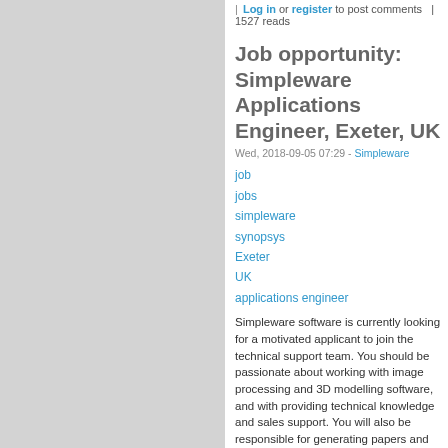| Log in or register to post comments | 1527 reads
Job opportunity: Simpleware Applications Engineer, Exeter, UK
Wed, 2018-09-05 07:29 - Simpleware
job
jobs
simpleware
synopsys
Exeter
UK
applications engineer
Simpleware software is currently looking for a motivated applicant to join the technical support team. You should be passionate about working with image processing and 3D modelling software, and with providing technical knowledge and sales support. You will also be responsible for generating papers and promotional material which will...